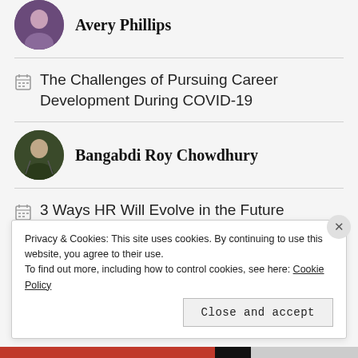Avery Phillips
The Challenges of Pursuing Career Development During COVID-19
Bangabdi Roy Chowdhury
3 Ways HR Will Evolve in the Future
Bhaswati B
Privacy & Cookies: This site uses cookies. By continuing to use this website, you agree to their use. To find out more, including how to control cookies, see here: Cookie Policy
Close and accept